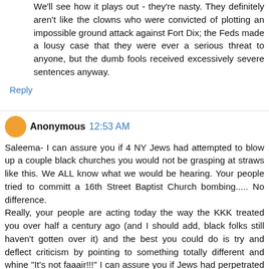We'll see how it plays out - they're nasty. They definitely aren't like the clowns who were convicted of plotting an impossible ground attack against Fort Dix; the Feds made a lousy case that they were ever a serious threat to anyone, but the dumb fools received excessively severe sentences anyway.
Reply
Anonymous  12:53 AM
Saleema- I can assure you if 4 NY Jews had attempted to blow up a couple black churches you would not be grasping at straws like this. We ALL know what we would be hearing. Your people tried to committ a 16th Street Baptist Church bombing..... No difference.
Really, your people are acting today the way the KKK treated you over half a century ago (and I should add, black folks still haven't gotten over it) and the best you could do is try and deflect criticism by pointing to something totally different and whine "It's not faaair!!!" I can assure you if Jews had perpetrated this crime on YOUR people, YOUR people would be doing a lot more than suggesting